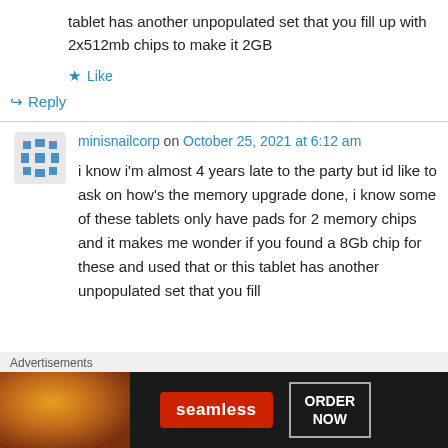tablet has another unpopulated set that you fill up with 2x512mb chips to make it 2GB
★ Like
↪ Reply
minisnailcorp on October 25, 2021 at 6:12 am
i know i'm almost 4 years late to the party but id like to ask on how's the memory upgrade done, i know some of these tablets only have pads for 2 memory chips and it makes me wonder if you found a 8Gb chip for these and used that or this tablet has another unpopulated set that you fill
[Figure (infographic): Seamless food delivery advertisement banner with pizza image, Seamless logo in red, and ORDER NOW button]
Advertisements